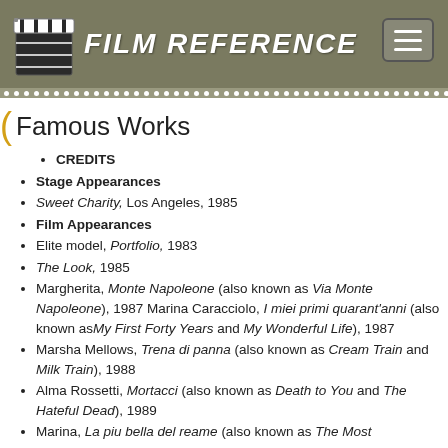FILM REFERENCE
Famous Works
CREDITS
Stage Appearances
Sweet Charity, Los Angeles, 1985
Film Appearances
Elite model, Portfolio, 1983
The Look, 1985
Margherita, Monte Napoleone (also known as Via Monte Napoleone), 1987 Marina Caracciolo, I miei primi quarant'anni (also known as My First Forty Years and My Wonderful Life), 1987
Marsha Mellows, Trena di panna (also known as Cream Train and Milk Train), 1988
Alma Rossetti, Mortacci (also known as Death to You and The Hateful Dead), 1989
Marina, La piu bella del reame (also known as The Most